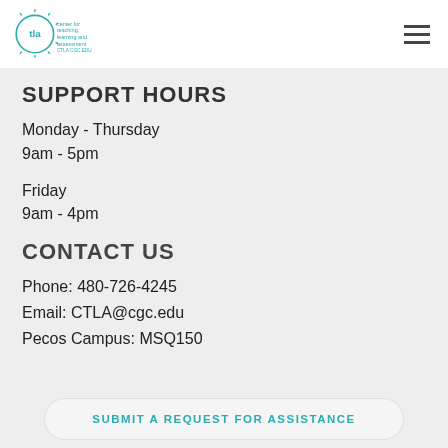center for teaching, learning and assessment ctla.cgc.edu
SUPPORT HOURS
Monday - Thursday
9am - 5pm
Friday
9am - 4pm
CONTACT US
Phone: 480-726-4245
Email: CTLA@cgc.edu
Pecos Campus: MSQ150
SUBMIT A REQUEST FOR ASSISTANCE